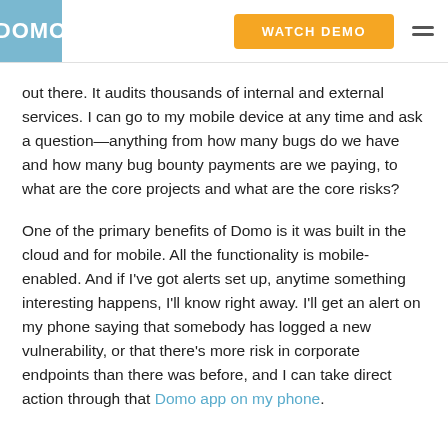DOMO | WATCH DEMO
out there. It audits thousands of internal and external services. I can go to my mobile device at any time and ask a question—anything from how many bugs do we have and how many bug bounty payments are we paying, to what are the core projects and what are the core risks?
One of the primary benefits of Domo is it was built in the cloud and for mobile. All the functionality is mobile-enabled. And if I've got alerts set up, anytime something interesting happens, I'll know right away. I'll get an alert on my phone saying that somebody has logged a new vulnerability, or that there's more risk in corporate endpoints than there was before, and I can take direct action through that Domo app on my phone.